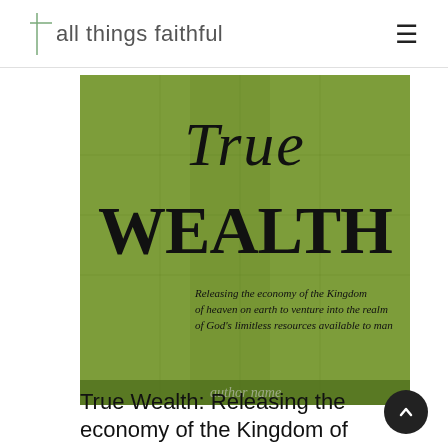all things faithful
[Figure (illustration): Book cover of 'True Wealth: Releasing the economy of the Kingdom of heaven on earth to venture into the realm of God's limitless resources available to man'. Green background with large cursive 'True' at top and bold 'WEALTH' below, with italic subtitle text.]
True Wealth: Releasing the economy of the Kingdom of heaven on earth to venture into